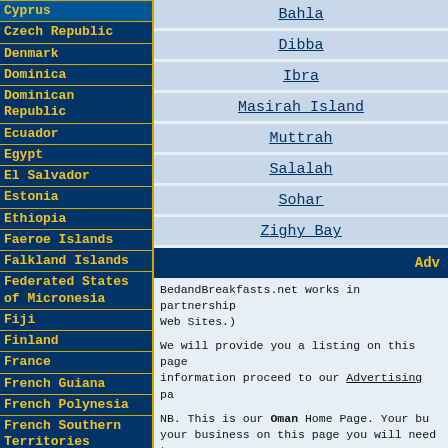Cyprus
Czech Republic
Denmark
Dominica
Dominican Republic
Ecuador
Egypt
El Salvador
Estonia
Ethiopia
Faeroe Islands
Falkland Islands
Federated States of Micronesia
Fiji
Finland
France
French Guiana
French Polynesia
French Southern Territories
Gabon
Georgia
Germany
Ghana
Bahla
Dibba
Ibra
Masirah Island
Muttrah
Salalah
Sohar
Zighy Bay
Adv
BedandBreakfasts.net works in partnership Web Sites.)
We will provide you a listing on this page information proceed to our Advertising page.
NB. This is our Oman Home Page. Your business on this page you will need t